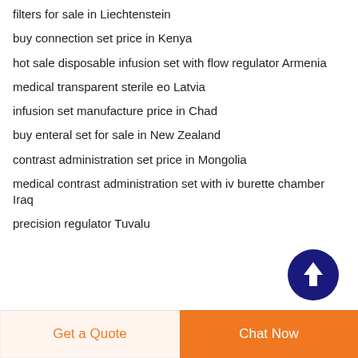filters for sale in Liechtenstein
buy connection set price in Kenya
hot sale disposable infusion set with flow regulator Armenia
medical transparent sterile eo Latvia
infusion set manufacture price in Chad
buy enteral set for sale in New Zealand
contrast administration set price in Mongolia
medical contrast administration set with iv burette chamber Iraq
precision regulator Tuvalu